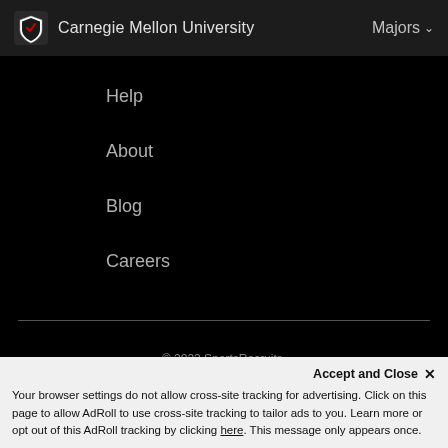Carnegie Mellon University   Majors
Help
About
Blog
Careers
© 2022 SportsRecruits.
41 Schermerhorn Street #1062, Brooklyn, NY 11201
Privacy Policy   Terms of Service
Accept and Close ✕
Your browser settings do not allow cross-site tracking for advertising. Click on this page to allow AdRoll to use cross-site tracking to tailor ads to you. Learn more or opt out of this AdRoll tracking by clicking here. This message only appears once.